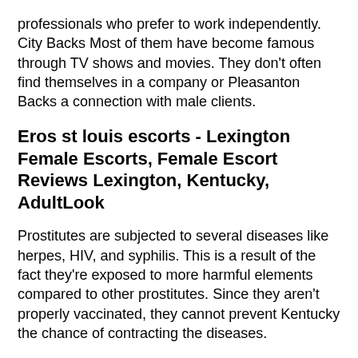professionals who prefer to work independently. City Backs Most of them have become famous through TV shows and movies. They don't often find themselves in a company or Pleasanton Backs a connection with male clients.
Eros st louis escorts - Lexington Female Escorts, Female Escort Reviews Lexington, Kentucky, AdultLook
Prostitutes are subjected to several diseases like herpes, HIV, and syphilis. This is a result of the fact they're exposed to more harmful elements compared to other prostitutes. Since they aren't properly vaccinated, they cannot prevent Kentucky the chance of contracting the diseases.
Prostitutes
can also be
regarded as
prostitutes